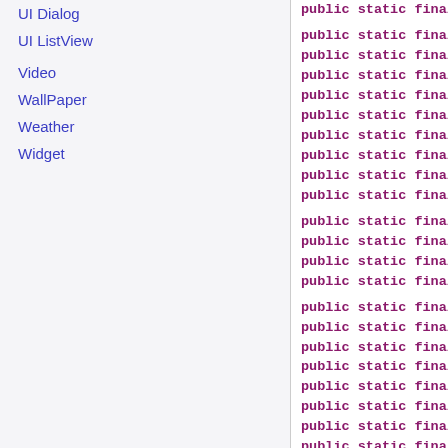UI Dialog
UI ListView
Video
WallPaper
Weather
Widget
public static final (repeated lines on right column)